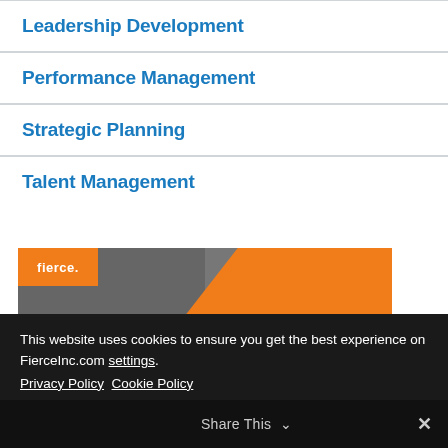Leadership Development
Performance Management
Strategic Planning
Talent Management
[Figure (photo): Fierce Inc advertisement image showing people in a business meeting with orange brand diagonal background and fierce. logo in top left corner]
This website uses cookies to ensure you get the best experience on FierceInc.com settings. Privacy Policy Cookie Policy
Accept
Share This ∨ ✕